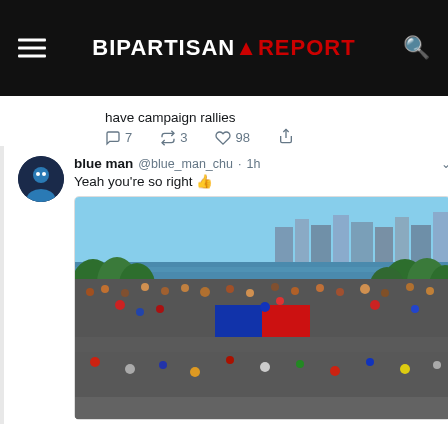BIPARTISAN REPORT
have campaign rallies
7  3  98
blue man @blue_man_chu · 1h
Yeah you're so right 👍
[Figure (photo): Aerial view of a massive crowd gathered outdoors along a waterfront park with trees and a city skyline in the background. A large red and blue banner/flag is visible in the crowd.]